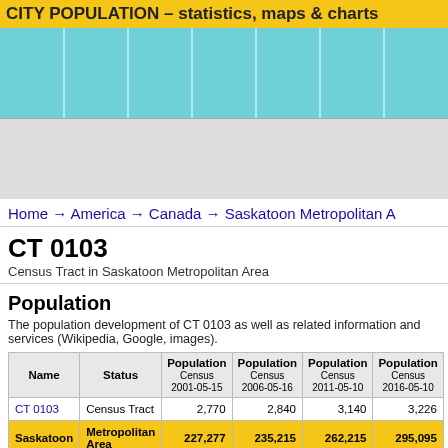CITY POPULATION – statistics, maps & charts
[Figure (bar-chart): Placeholder bar chart visualization with teal/cyan colored columns]
Home → America → Canada → Saskatoon Metropolitan A
CT 0103
Census Tract in Saskatoon Metropolitan Area
Population
The population development of CT 0103 as well as related information and services (Wikipedia, Google, images).
| Name | Status | Population Census 2001-05-15 | Population Census 2006-05-16 | Population Census 2011-05-10 | Population Census 2016-05-10 |
| --- | --- | --- | --- | --- | --- |
| CT 0103 | Census Tract | 2,770 | 2,840 | 3,140 | 3,226 |
| Saskatoon Metropolitan Area |  | 227,277 | 235,215 | 262,215 | 295,095 |